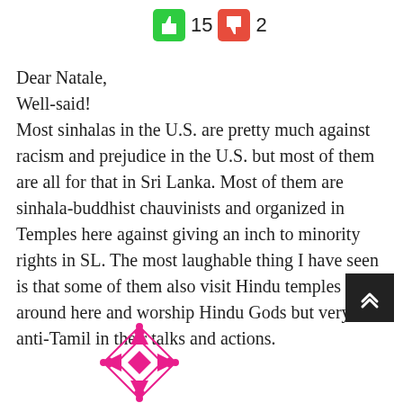[Figure (other): Thumbs up icon (green) with count 15, thumbs down icon (red) with count 2]
Dear Natale,
Well-said!
Most sinhalas in the U.S. are pretty much against racism and prejudice in the U.S. but most of them are all for that in Sri Lanka. Most of them are sinhala-buddhist chauvinists and organized in Temples here against giving an inch to minority rights in SL. The most laughable thing I have seen is that some of them also visit Hindu temples around here and worship Hindu Gods but very anti-Tamil in their talks and actions.
[Figure (logo): Decorative pink/magenta geometric pattern logo at bottom left]